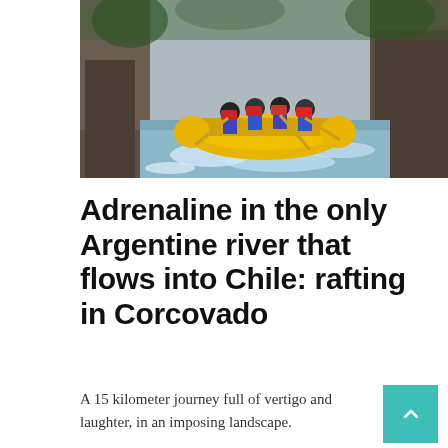[Figure (photo): A group of people white-water rafting in a yellow inflatable raft through a narrow rocky canyon river. They are wearing helmets and red/blue life jackets and paddling through rapids.]
Adrenaline in the only Argentine river that flows into Chile: rafting in Corcovado
A 15 kilometer journey full of vertigo and laughter, in an imposing landscape.